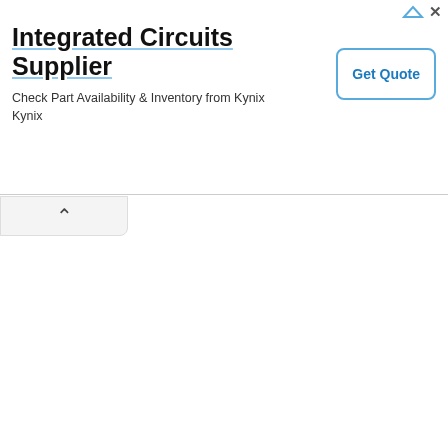[Figure (other): Advertisement banner for Integrated Circuits Supplier - Kynix. Title: 'Integrated Circuits Supplier'. Subtitle: 'Check Part Availability & Inventory from Kynix Kynix'. Button: 'Get Quote'.]
participate in the Game/Sweepstakes, undeliverable e-mails resulting from a a user's Internet service provider and/ user's e-mail account to receive e-mai modify the Game/Sweepstakes if frau integrity of the program; or if a comp corrupts the administration or security Sponsor/judging agency/administrator termination, a notice will be posted at for all remaining prizes may be condu prior to termination in accordance wit submitting entries will not be deemed which are suspected of being fraudule programmed or similar methods of pa determinations made solely by Spons